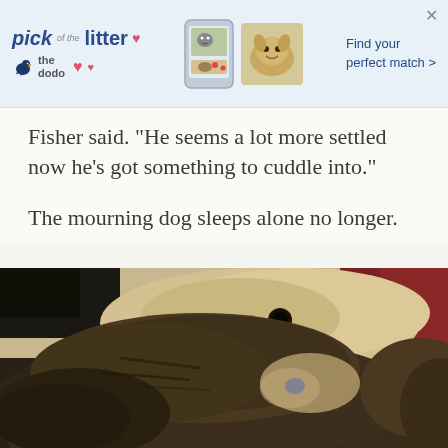[Figure (other): Advertisement banner for 'pick of the litter' by The Dodo, showing phone screen with pet photos and a golden dog image, with text 'Find your perfect match >']
Fisher said. "He seems a lot more settled now he's got something to cuddle into."
The mourning dog sleeps alone no longer.
[Figure (photo): Close-up photograph of two dogs resting together — a dark brindle dog in the foreground with its snout visible, and a lighter golden/cream colored dog in the background, both appearing to sleep or rest together.]